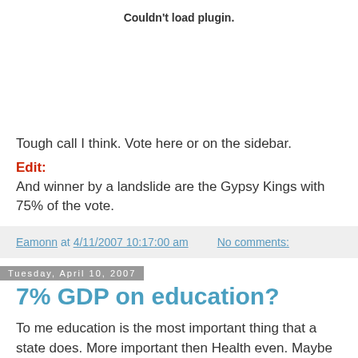Couldn't load plugin.
Tough call I think. Vote here or on the sidebar.
Edit:
And winner by a landslide are the Gypsy Kings with 75% of the vote.
Eamonn at 4/11/2007 10:17:00 am   No comments:
Tuesday, April 10, 2007
7% GDP on education?
To me education is the most important thing that a state does. More important then Health even. Maybe it is the right ...